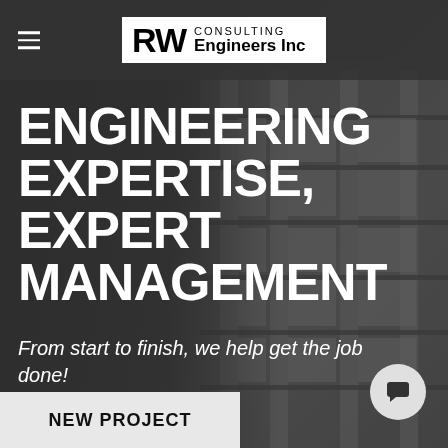[Figure (screenshot): Dark background with building facade (balconies, concrete structure) visible on right side]
RW CONSULTING Engineers Inc
ENGINEERING EXPERTISE, EXPERT MANAGEMENT
From start to finish, we help get the job done!
NEW PROJECT